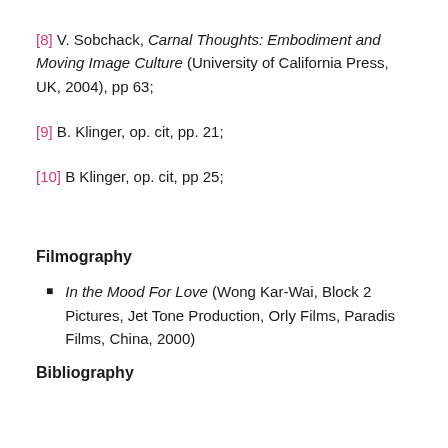[8] V. Sobchack, Carnal Thoughts: Embodiment and Moving Image Culture (University of California Press, UK, 2004), pp 63;
[9] B. Klinger, op. cit, pp. 21;
[10] B Klinger, op. cit, pp 25;
Filmography
In the Mood For Love (Wong Kar-Wai, Block 2 Pictures, Jet Tone Production, Orly Films, Paradis Films, China, 2000)
Bibliography